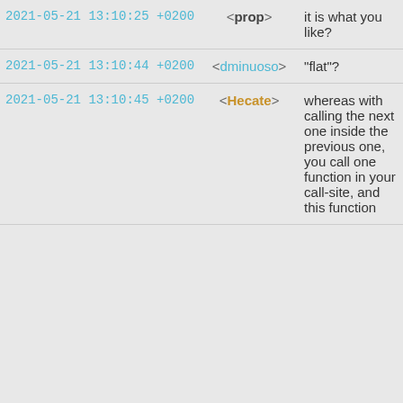| Timestamp | Nick | Message |
| --- | --- | --- |
| 2021-05-21 13:10:25 +0200 | prop | it is what you like? |
| 2021-05-21 13:10:44 +0200 | dminuoso | "flat"? |
| 2021-05-21 13:10:45 +0200 | Hecate | whereas with calling the next one inside the previous one, you call one function in your call-site, and this function |